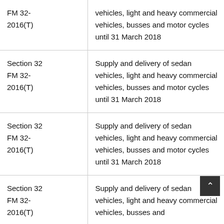| FM 32-2016(T) | vehicles, light and heavy commercial vehicles, busses and motor cycles until 31 March 2018 |
| Section 32 FM 32-2016(T) | Supply and delivery of sedan vehicles, light and heavy commercial vehicles, busses and motor cycles until 31 March 2018 |
| Section 32 FM 32-2016(T) | Supply and delivery of sedan vehicles, light and heavy commercial vehicles, busses and motor cycles until 31 March 2018 |
| Section 32 FM 32-2016(T) | Supply and delivery of sedan vehicles, light and heavy commercial vehicles, busses and |